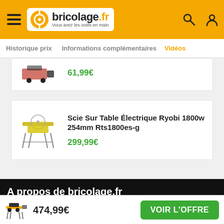bricolage.fr — Vous avez les outils en main
Historique prix  Informations complémentaires  Vidéos
61,99€
Scie Sur Table Électrique Ryobi 1800w 254mm Rts1800es-g
299,99€
A propos de bricolage.fr
474,99€  VOIR L'OFFRE